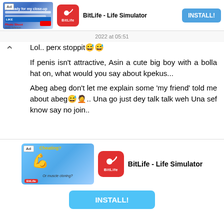[Figure (screenshot): Top advertisement banner for BitLife - Life Simulator app with install button]
2022 at 05:51
Lol.. perx stoppit😅😅
If penis isn't attractive, Asin a cute big boy with a bolla hat on, what would you say about kpekus...
Abeg abeg don't let me explain some 'my friend' told me about abeg😅🤦.. Una go just dey talk talk weh Una sef know say no join..
BTW, what was contained in the post that caused all these replies?
Happy new year perx
[Figure (screenshot): Bottom advertisement banner for BitLife - Life Simulator app with install button]